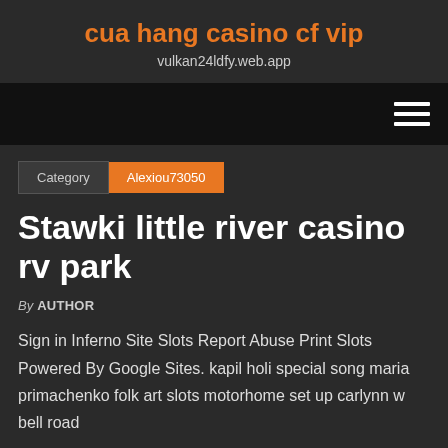cua hang casino cf vip
vulkan24ldfy.web.app
Category | Alexiou73050
Stawki little river casino rv park
By AUTHOR
Sign in Inferno Site Slots Report Abuse Print Slots Powered By Google Sites. kapil holi special song maria primachenko folk art slots motorhome set up carlynn w bell road